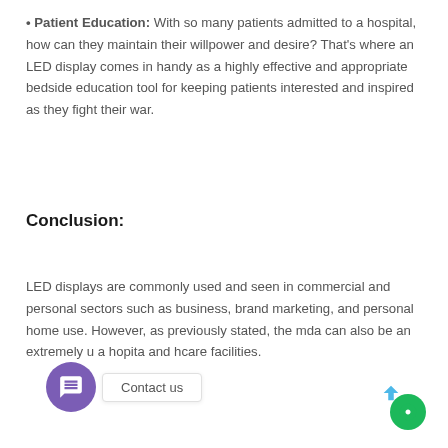• Patient Education: With so many patients admitted to a hospital, how can they maintain their willpower and desire? That's where an LED display comes in handy as a highly effective and appropriate bedside education tool for keeping patients interested and inspired as they fight their war.
Conclusion:
LED displays are commonly used and seen in commercial and personal sectors such as business, brand marketing, and personal home use. However, as previously stated, the m...da... can also be an extremely u... a... ho...pita... and ...hcare facilities.